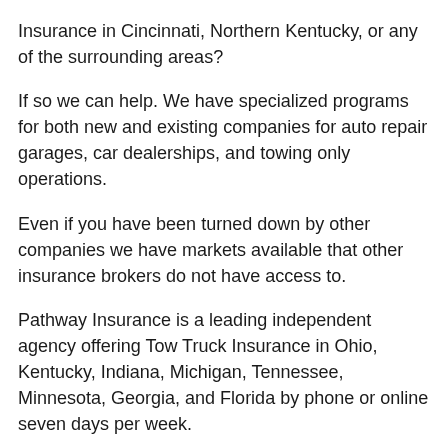Insurance in Cincinnati, Northern Kentucky, or any of the surrounding areas?
If so we can help. We have specialized programs for both new and existing companies for auto repair garages, car dealerships, and towing only operations.
Even if you have been turned down by other companies we have markets available that other insurance brokers do not have access to.
Pathway Insurance is a leading independent agency offering Tow Truck Insurance in Ohio, Kentucky, Indiana, Michigan, Tennessee, Minnesota, Georgia, and Florida by phone or online seven days per week.
Click on Cincinnati Tow Truck Insurance to send us your request for quotes online 7 days per week.
New Ohio Tow Truck Program